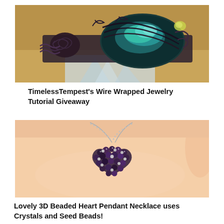[Figure (photo): Close-up of a wire-wrapped jewelry bracelet with a large labradorite gemstone showing blue-green iridescence, wrapped in dark copper wire with intricate knotwork, resting on a sandy surface with ice crystals underneath.]
TimelessTempest's Wire Wrapped Jewelry Tutorial Giveaway
[Figure (photo): A hand holding a 3D beaded heart pendant necklace made with dark crystals and silver seed beads on a ball chain necklace, clustered into a heart shape.]
Lovely 3D Beaded Heart Pendant Necklace uses Crystals and Seed Beads!